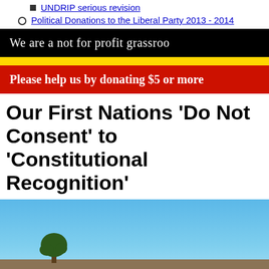UNDRIP serious revision
Political Donations to the Liberal Party 2013 - 2014
We are a not for profit grassroo
Please help us by donating $5 or more
Our First Nations 'Do Not Consent' to 'Constitutional Recognition'
[Figure (photo): Landscape photo with blue sky and sparse vegetation/tree on flat terrain]